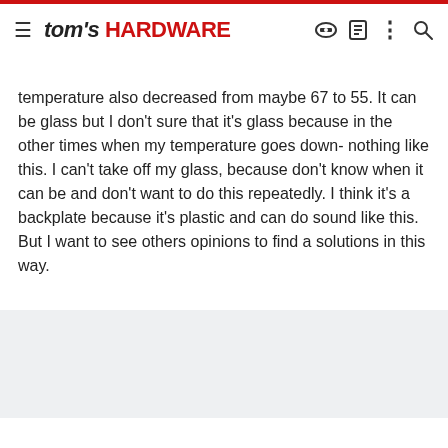tom's HARDWARE
temperature also decreased from maybe 67 to 55. It can be glass but I don't sure that it's glass because in the other times when my temperature goes down- nothing like this. I can't take off my glass, because don't know when it can be and don't want to do this repeatedly. I think it's a backplate because it's plastic and can do sound like this. But I want to see others opinions to find a solutions in this way.